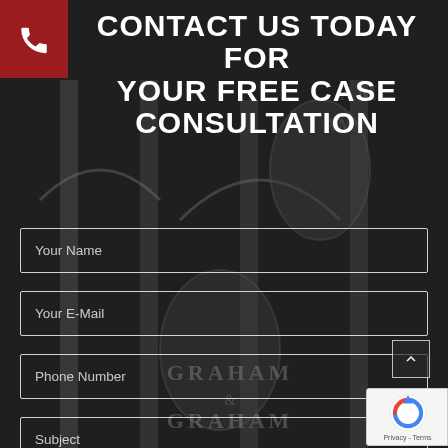[Figure (illustration): Dark background with building/architectural imagery (Graham & Graham law firm signage visible in dark overlay)]
CONTACT US TODAY FOR YOUR FREE CASE CONSULTATION
Your Name
Your E-Mail
Phone Number
Subject
[Figure (logo): reCAPTCHA badge with circular arrow logo and Privacy - Terms text]